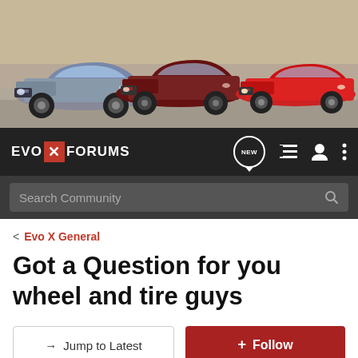[Figure (photo): Banner image showing three Mitsubishi Lancer Evolution cars (silver/gray, dark red, and bright red) driving on a road against a desert/canyon background]
[Figure (logo): EVO X FORUMS logo with red X on dark navigation bar, along with NEW chat bubble icon, list icon, user icon, and vertical dots menu icon]
Search Community
< Evo X General
Got a Question for you wheel and tire guys
→ Jump to Latest
+ Follow
1 - 11 of 11 Posts